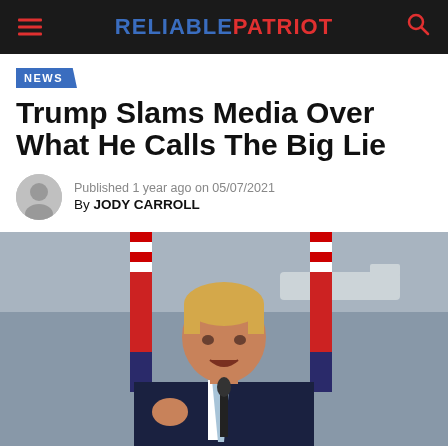RELIABLE PATRIOT
NEWS
Trump Slams Media Over What He Calls The Big Lie
Published 1 year ago on 05/07/2021
By JODY CARROLL
[Figure (photo): Donald Trump speaking at a podium with microphone, wearing a dark suit and light blue tie, with American flags behind him and an aircraft in the background]